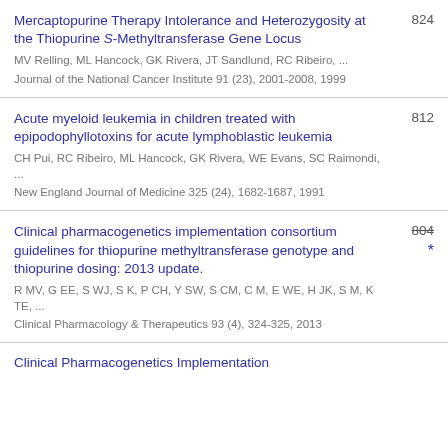Mercaptopurine Therapy Intolerance and Heterozygosity at the Thiopurine S-Methyltransferase Gene Locus | MV Relling, ML Hancock, GK Rivera, JT Sandlund, RC Ribeiro, ... | Journal of the National Cancer Institute 91 (23), 2001-2008, 1999 | 824
Acute myeloid leukemia in children treated with epipodophyllotoxins for acute lymphoblastic leukemia | CH Pui, RC Ribeiro, ML Hancock, GK Rivera, WE Evans, SC Raimondi, ... | New England Journal of Medicine 325 (24), 1682-1687, 1991 | 812
Clinical pharmacogenetics implementation consortium guidelines for thiopurine methyltransferase genotype and thiopurine dosing: 2013 update. | R MV, G EE, S WJ, S K, P CH, Y SW, S CM, C M, E WE, H JK, S M, K TE, ... | Clinical Pharmacology & Therapeutics 93 (4), 324-325, 2013 | 804 *
Clinical Pharmacogenetics Implementation...